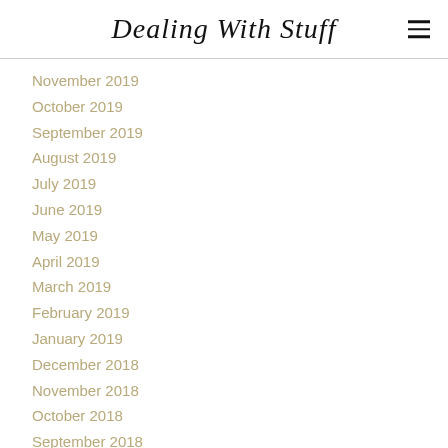Dealing With Stuff
November 2019
October 2019
September 2019
August 2019
July 2019
June 2019
May 2019
April 2019
March 2019
February 2019
January 2019
December 2018
November 2018
October 2018
September 2018
August 2018
July 2018